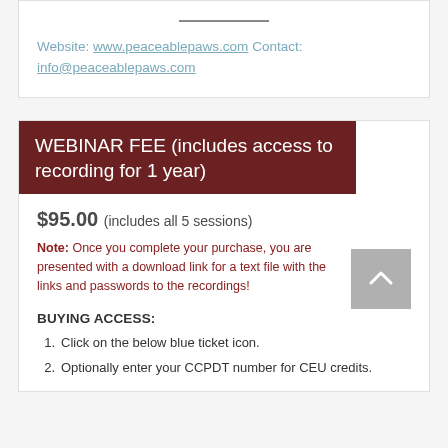Website: www.peaceablepaws.com Contact: info@peaceablepaws.com
WEBINAR FEE (includes access to recording for 1 year)
$95.00 (includes all 5 sessions)
Note: Once you complete your purchase, you are presented with a download link for a text file with the links and passwords to the recordings!
BUYING ACCESS:
Click on the below blue ticket icon.
Optionally enter your CCPDT number for CEU credits.